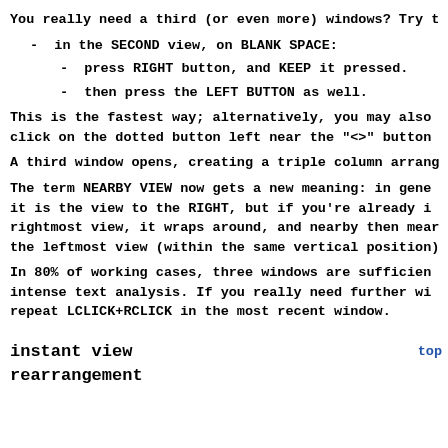You really need a third (or even more) windows? Try t
-  in the SECOND view, on BLANK SPACE:
-  press RIGHT button, and KEEP it pressed.
-  then press the LEFT BUTTON as well.
This is the fastest way; alternatively, you may also click on the dotted button left near the "<>" button
A third window opens, creating a triple column arrang
The term NEARBY VIEW now gets a new meaning: in gene it is the view to the RIGHT, but if you're already i rightmost view, it wraps around, and nearby then mear the leftmost view (within the same vertical position)
In 80% of working cases, three windows are sufficien intense text analysis. If you really need further wi repeat LCLICK+RCLICK in the most recent window.
instant view
rearrangement